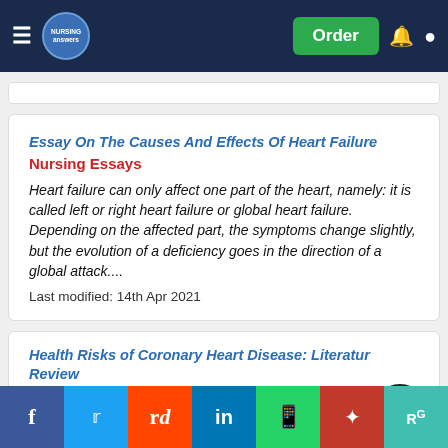Nursing Answers — Order
Essay On The Causes And Effects Of Heart Failure Nursing Essays
Heart failure can only affect one part of the heart, namely: it is called left or right heart failure or global heart failure. Depending on the affected part, the symptoms change slightly, but the evolution of a deficiency goes in the direction of a global attack....
Last modified: 14th Apr 2021
Health Risks of Coronary Heart Disease: Literature Review
Nursing Essays
To enable... of